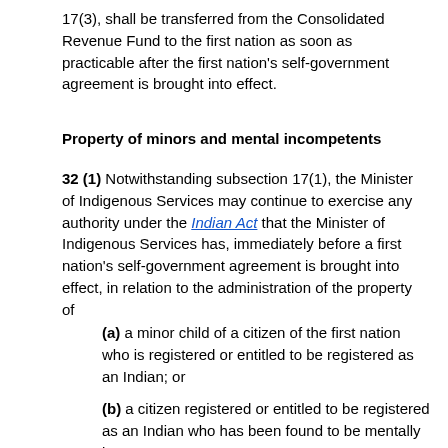17(3), shall be transferred from the Consolidated Revenue Fund to the first nation as soon as practicable after the first nation's self-government agreement is brought into effect.
Property of minors and mental incompetents
32 (1) Notwithstanding subsection 17(1), the Minister of Indigenous Services may continue to exercise any authority under the Indian Act that the Minister of Indigenous Services has, immediately before a first nation's self-government agreement is brought into effect, in relation to the administration of the property of
(a) a minor child of a citizen of the first nation who is registered or entitled to be registered as an Indian; or
(b) a citizen registered or entitled to be registered as an Indian who has been found to be mentally incompetent.